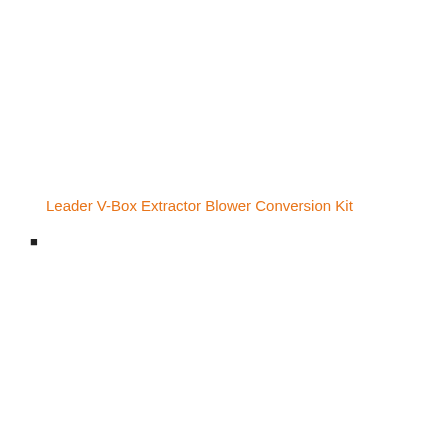Leader V-Box Extractor Blower Conversion Kit